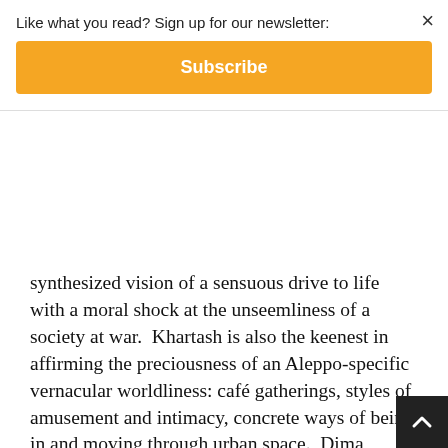Like what you read? Sign up for our newsletter:
Subscribe
synthesized vision of a sensuous drive to life with a moral shock at the unseemliness of a society at war. Khartash is also the keenest in affirming the preciousness of an Aleppo-specific vernacular worldliness: café gatherings, styles of amusement and intimacy, concrete ways of being in and moving through urban space. Dima Wannous's The Frightened Ones shows great formal subtlety and achieves a degree of textual polish on par with transregional Arab postmodernity. Yet its withdrawn indecision between empathy and trauma cannot bring its narrators to grapple with the manifold phenomena that erupted onto Syria's social surface. Khaled Khalifa's Death Is Hard Work aims to portray Syria's ghastly chaos in thick detail but is overladen with figurative furnishings that cover up the actual bare